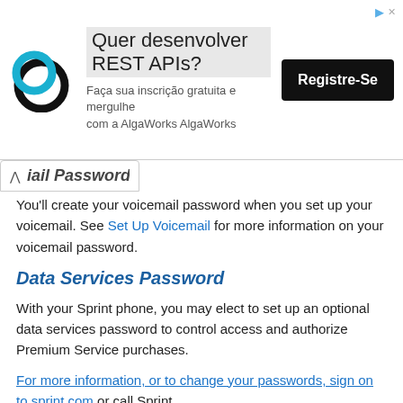[Figure (screenshot): Advertisement banner for AlgaWorks REST API course with logo, text 'Quer desenvolver REST APIs?', subtitle, and 'Registre-Se' button]
iail Password
You'll create your voicemail password when you set up your voicemail. See Set Up Voicemail for more information on your voicemail password.
Data Services Password
With your Sprint phone, you may elect to set up an optional data services password to control access and authorize Premium Service purchases.
For more information, or to change your passwords, sign on to sprint.com or call Sprint
Customer Service at 1-888-211-4727.
Manage Your Account
Manage your Sprint account from your computer, your Sprint phone, or any other phone.